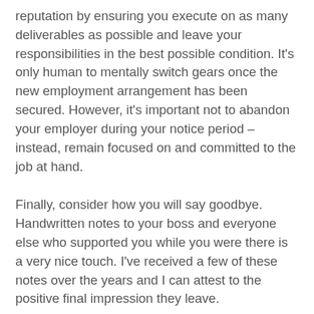reputation by ensuring you execute on as many deliverables as possible and leave your responsibilities in the best possible condition. It’s only human to mentally switch gears once the new employment arrangement has been secured. However, it’s important not to abandon your employer during your notice period – instead, remain focused on and committed to the job at hand.
Finally, consider how you will say goodbye. Handwritten notes to your boss and everyone else who supported you while you were there is a very nice touch. I’ve received a few of these notes over the years and I can attest to the positive final impression they leave.
It’s important to take the long view of your career. The journey is often unpredictable and may have more twists and turns than you anticipate. However, you determine your impact on others and you have a direct influence on how